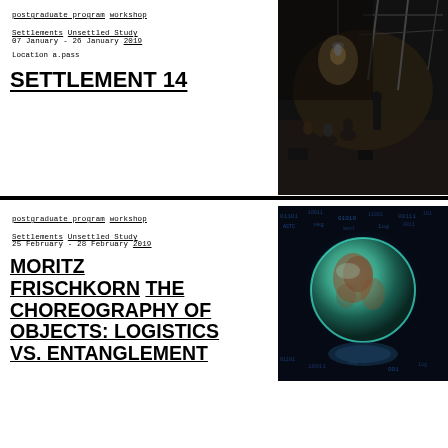postgraduate program workshop Settlements Unsettled Study
07 January - 26 January 2019
Location a.pass
SETTLEMENT 14
[Figure (photo): Photo of people sitting on a stage with lighting equipment and scaffolding, in a dark performance space.]
postgraduate program workshop Settlements Unsettled Study
25 February - 28 February 2019
MORITZ FRISCHKORN THE CHOREOGRAPHY OF OBJECTS: LOGISTICS VS. ENTANGLEMENT
[Figure (photo): Photo of a glowing green/blue spherical map object against a dark background with blue digital pattern.]